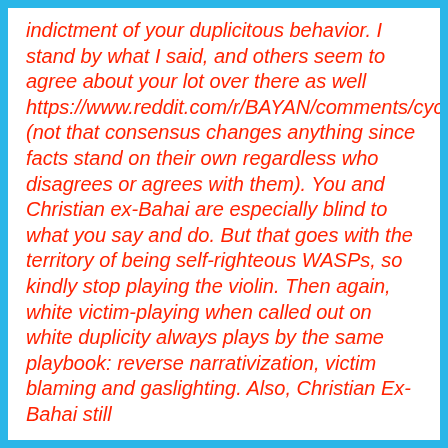indictment of your duplicitous behavior. I stand by what I said, and others seem to agree about your lot over there as well https://www.reddit.com/r/BAYAN/comments/cycea7/lets_talk_about_exbahai/ (not that consensus changes anything since facts stand on their own regardless who disagrees or agrees with them). You and Christian ex-Bahai are especially blind to what you say and do. But that goes with the territory of being self-righteous WASPs, so kindly stop playing the violin. Then again, white victim-playing when called out on white duplicity always plays by the same playbook: reverse narrativization, victim blaming and gaslighting. Also, Christian Ex-Bahai still